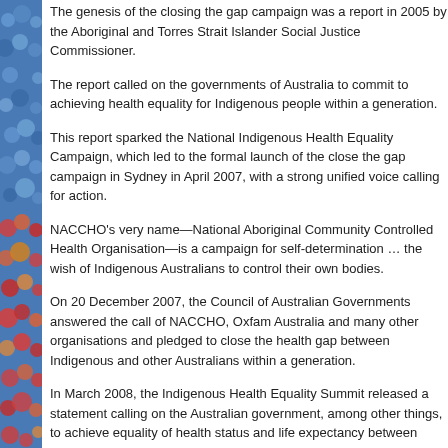The genesis of the closing the gap campaign was a report in 2005 by the Aboriginal and Torres Strait Islander Social Justice Commissioner.
The report called on the governments of Australia to commit to achieving health equality for Indigenous people within a generation.
This report sparked the National Indigenous Health Equality Campaign, which led to the formal launch of the close the gap campaign in Sydney in April 2007, with a strong unified voice calling for action.
NACCHO's very name—National Aboriginal Community Controlled Health Organisation—is a campaign for self-determination … the wish of Indigenous Australians to control their own bodies.
On 20 December 2007, the Council of Australian Governments answered the call of NACCHO, Oxfam Australia and many other organisations and pledged to close the health gap between Indigenous and other Australians within a generation.
In March 2008, the Indigenous Health Equality Summit released a statement calling on the Australian government, among other things, to achieve equality of health status and life expectancy between Aboriginal and Torres Strait Islander peoples and non-Indigenous Australians.
NACCHO was a signatory to that statement. The parties also agreed to a framework to measure, monitor and report.